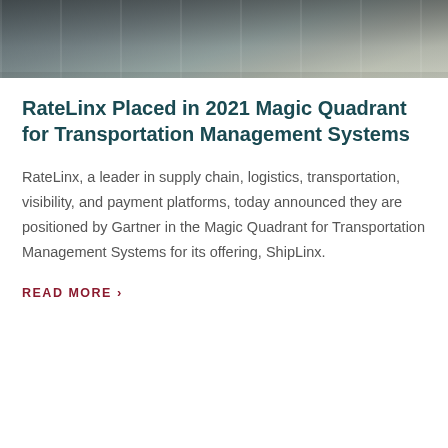[Figure (photo): Aerial or top-down view of a wet road with white lane markings and a vehicle visible at the top]
RateLinx Placed in 2021 Magic Quadrant for Transportation Management Systems
RateLinx, a leader in supply chain, logistics, transportation, visibility, and payment platforms, today announced they are positioned by Gartner in the Magic Quadrant for Transportation Management Systems for its offering, ShipLinx.
READ MORE ›